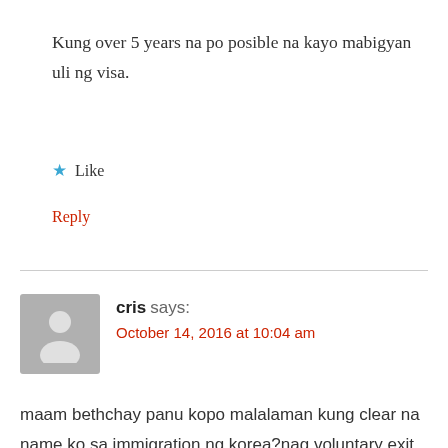Kung over 5 years na po posible na kayo mabigyan uli ng visa.
★ Like
Reply
cris says:
October 14, 2016 at 10:04 am
maam bethchay panu kopo malalaman kung clear na name ko sa immigration ng korea?nag voluntary exit ako nung dec.2012 i was tnt for 3years at my tatak ng 68-(1) ang passport ko nung pauwi ako.in this case would it be possible po ba na pwd ako mkabolik anytime